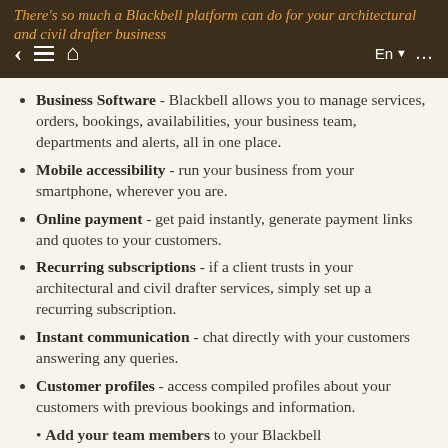There's so much a Blackbell platform can do for your architectural and civil drafter business
Business Software - Blackbell allows you to manage services, orders, bookings, availabilities, your business team, departments and alerts, all in one place.
Mobile accessibility - run your business from your smartphone, wherever you are.
Online payment - get paid instantly, generate payment links and quotes to your customers.
Recurring subscriptions - if a client trusts in your architectural and civil drafter services, simply set up a recurring subscription.
Instant communication - chat directly with your customers answering any queries.
Customer profiles - access compiled profiles about your customers with previous bookings and information.
Add your team members to your Blackbell